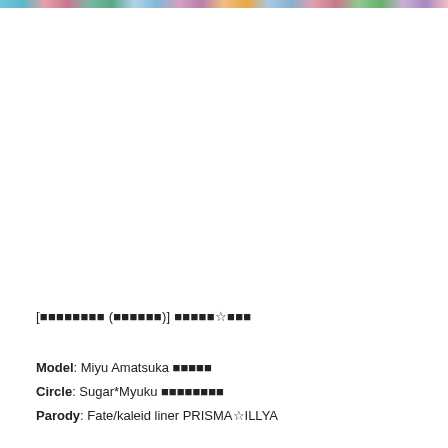[colorful banner strip at top]
[プリズマ☆イリヤ (あまつかみゆ)] プリズマ☆イリヤ
Model: Miyu Amatsuka 天塚美遊
Circle: Sugar*Myuku シュガー*みゆく
Parody: Fate/kaleid liner PRISMA☆ILLYA